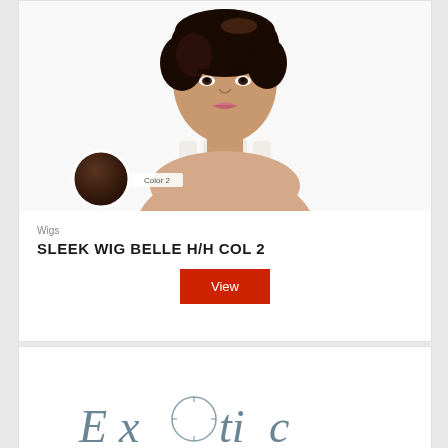[Figure (photo): A female model wearing a short dark pixie cut wig, with a color swatch circle showing dark brown (Color 2) overlaid in the lower left of the image.]
Wigs
SLEEK WIG BELLE H/H COL 2
View
[Figure (logo): Partial brand logo visible at bottom of page, appears to be 'Exotic' or similar brand name in stylized font with decorative element.]